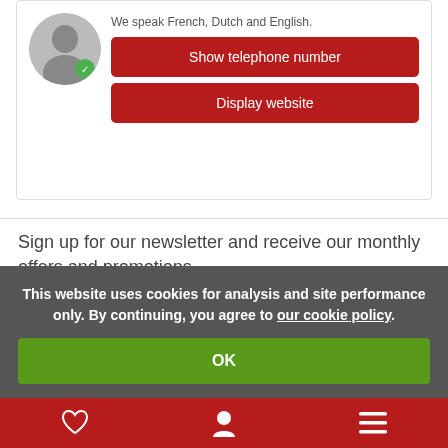We speak French, Dutch and English.
Show telephone number
Display website
Sign up for our newsletter and receive our monthly offers and promotions
Email address
This website uses cookies for analysis and site performance only. By continuing, you agree to our cookie policy.
OK